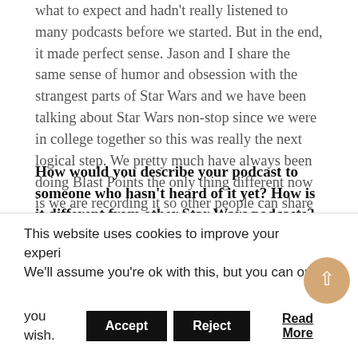what to expect and hadn't really listened to many podcasts before we started. But in the end, it made perfect sense. Jason and I share the same sense of humor and obsession with the strangest parts of Star Wars and we have been talking about Star Wars non-stop since we were in college together so this was really the next logical step. We pretty much have always been doing Blast Points the only thing different now is we are recording it so other people can share in on the fun.
How would you describe your podcast to someone who hasn't heard of it yet? How is it different from other Star Wars podcasts?
Jason: If someone has never heard Blast Points, I would say that we tend to get deep on some obscure
This website uses cookies to improve your experience. We'll assume you're ok with this, but you can opt-out if you wish.